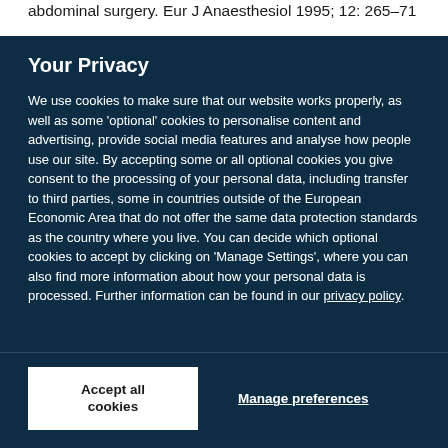abdominal surgery. Eur J Anaesthesiol 1995; 12: 265–71
Your Privacy
We use cookies to make sure that our website works properly, as well as some 'optional' cookies to personalise content and advertising, provide social media features and analyse how people use our site. By accepting some or all optional cookies you give consent to the processing of your personal data, including transfer to third parties, some in countries outside of the European Economic Area that do not offer the same data protection standards as the country where you live. You can decide which optional cookies to accept by clicking on 'Manage Settings', where you can also find more information about how your personal data is processed. Further information can be found in our privacy policy.
Accept all cookies
Manage preferences